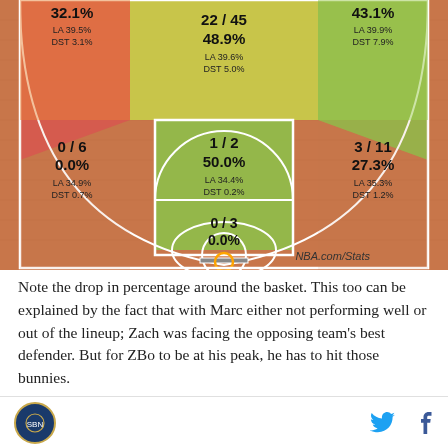[Figure (infographic): Basketball shot chart showing a half-court with shooting zones. Left wing: 0/6, 0.0%, LA 34.9%, DST 0.7%. Center top area: 22/45, 48.9%, LA 39.6%, DST 5.0%. Upper left: 32.1%, LA 39.5%, DST 3.1%. Upper right: 43.1%, LA 39.9%, DST 7.9%. Mid left: 1/2, 50.0%, LA 34.4%, DST 0.2%. Mid right: 3/11, 27.3%, LA 35.3%, DST 1.2%. Near basket: 0/3, 0.0%. NBA.com/Stats watermark.]
Note the drop in percentage around the basket. This too can be explained by the fact that with Marc either not performing well or out of the lineup; Zach was facing the opposing team’s best defender. But for ZBo to be at his peak, he has to hit those bunnies.